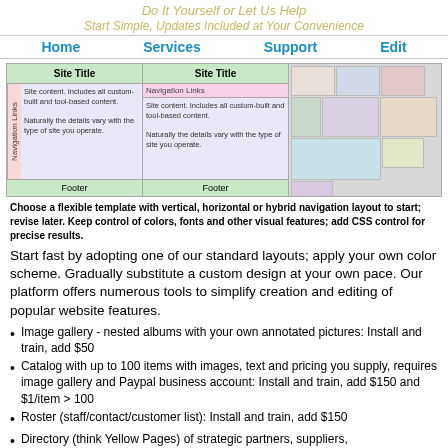Do It Yourself or Let Us Help
Start Simple, Updates Included at Your Convenience
Home | Services | Support | Edit
[Figure (screenshot): Two web layout diagrams showing vertical and horizontal navigation templates side by side, plus a collage of website design screenshots on the right]
Choose a flexible template with vertical, horizontal or hybrid navigation layout to start; revise later. Keep control of colors, fonts and other visual features; add CSS control for precise results.
Start fast by adopting one of our standard layouts; apply your own color scheme. Gradually substitute a custom design at your own pace. Our platform offers numerous tools to simplify creation and editing of popular website features.
Image gallery - nested albums with your own annotated pictures: Install and train, add $50
Catalog with up to 100 items with images, text and pricing you supply, requires image gallery and Paypal business account: Install and train, add $150 and $1/item > 100
Roster (staff/contact/customer list): Install and train, add $150
Directory (think Yellow Pages) of strategic partners, suppliers,